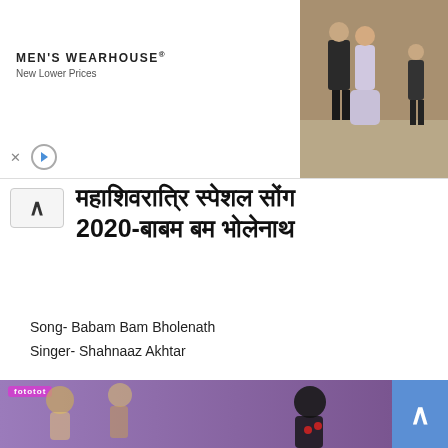[Figure (photo): Men's Wearhouse advertisement banner showing a couple in formal wear and a child in a suit, with 'New Lower Prices' tagline and close/play controls]
महाशिवरात्रि स्पेशल सोंग 2020-बाबम बम भोलेनाथ
Song- Babam Bam Bholenath
Singer- Shahnaaz Akhtar
Maha Shivratri special 2020 – Babam Bam Bholenath Video and Lyrics
[Figure (photo): Bottom advertisement banner showing mythological figures with fototat branding, and a scroll-to-top blue button]